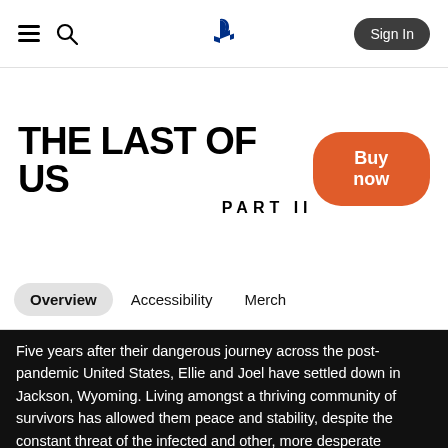PlayStation store navigation header with hamburger menu, search icon, PlayStation logo, and Sign In button
THE LAST OF US PART II
Buy now
Overview  Accessibility  Merch
Five years after their dangerous journey across the post-pandemic United States, Ellie and Joel have settled down in Jackson, Wyoming. Living amongst a thriving community of survivors has allowed them peace and stability, despite the constant threat of the infected and other, more desperate survivors.
When a violent event disrupts that peace, Ellie embarks on a relentless journey to carry out justice and find closure. As she hunts those responsible one by one, she is confronted with the devastating physical and emotional